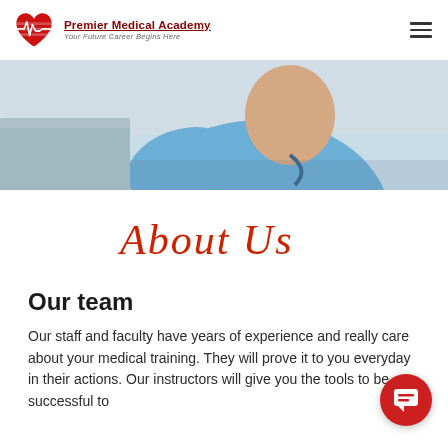[Figure (logo): Premier Medical Academy logo: red heart with EKG line icon, text 'Premier Medical Academy' in dark red bold underlined, subtitle 'Your Future Career Begins Here' in italic gray]
[Figure (photo): Close-up photo of a medical professional in blue scrubs with a stethoscope, seated at a desk or counter in a clinical setting]
About Us
Our team
Our staff and faculty have years of experience and really care about your medical training. They will prove it to you everyday in their actions. Our instructors will give you the tools to be successful to